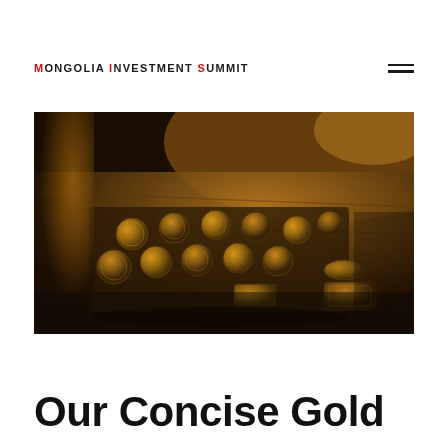MONGOLIA INVESTMENT SUMMIT
[Figure (photo): Close-up photograph of multiple antique gold/bronze coins arranged on a dark wooden tray or board, shot with warm golden ambient lighting creating a moody, dimly lit scene. The coins appear to be historical currency pieces with embossed designs.]
Our Concise Gold